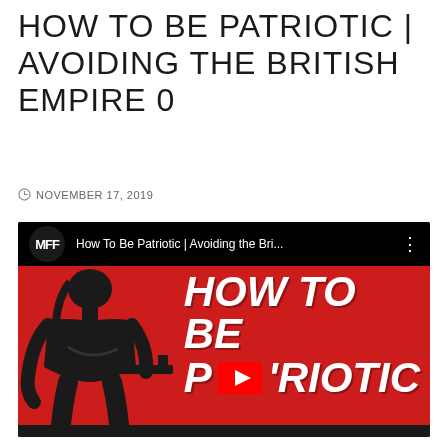HOW TO BE PATRIOTIC | AVOIDING THE BRITISH EMPIRE 0
NOVEMBER 17, 2019
[Figure (screenshot): YouTube video thumbnail screenshot showing a black and red image. The YouTube top bar displays the MFF channel logo and the title 'How To Be Patriotic | Avoiding the Bri...' with a three-dot menu. The thumbnail features a black-and-white image of Rambo (Sylvester Stallone) holding a gun on a red background, with bold white italic text reading 'HOW TO BE PATRIOTIC' overlaid, partially obscured by a YouTube play button icon in the center.]